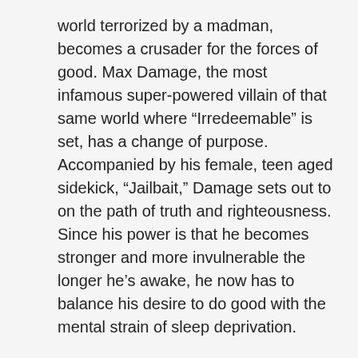world terrorized by a madman, becomes a crusader for the forces of good. Max Damage, the most infamous super-powered villain of that same world where “Irredeemable” is set, has a change of purpose. Accompanied by his female, teen aged sidekick, “Jailbait,” Damage sets out to on the path of truth and righteousness. Since his power is that he becomes stronger and more invulnerable the longer he’s awake, he now has to balance his desire to do good with the mental strain of sleep deprivation.
The latest year of “Incorruptible” has veered into political commentary and has delved into the personal relationships that get shaken up when the baddest bad guy in the world suddenly becomes a good guy.
[Figure (other): A black rectangular bar at the bottom of the page]